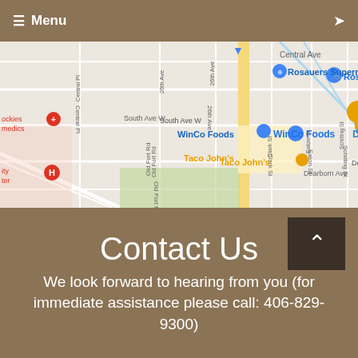≡ Menu
[Figure (map): Google Maps view showing streets including Central Ave, 26th Ave, South Ave W, Dearborn Ave, Old Fort Rd, Clark St, Eaton St, Schilling St, with landmarks: Rosauers Supermarkets, WinCo Foods, El Cazador, Taco John's, and partial views of Rocky Mountain Medics and a hospital]
Contact Us
We look forward to hearing from you (for immediate assistance please call: 406-829-9300)